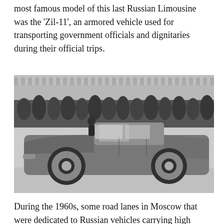most famous model of this last Russian Limousine was the 'Zil-11', an armored vehicle used for transporting government officials and dignitaries during their official trips.
[Figure (photo): Black and white photograph of a ZIL-111 Soviet luxury convertible limousine parked in front of the Kremlin wall with trees in the background. A person in military uniform is visible standing near the car.]
During the 1960s, some road lanes in Moscow that were dedicated to Russian vehicles carrying high ranking government and military